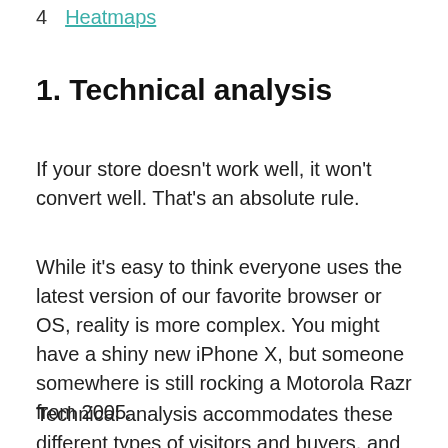4   Heatmaps
1. Technical analysis
If your store doesn't work well, it won't convert well. That's an absolute rule.
While it's easy to think everyone uses the latest version of our favorite browser or OS, reality is more complex. You might have a shiny new iPhone X, but someone somewhere is still rocking a Motorola Razr from 2005.
Technical analysis accommodates these different types of visitors and buyers, and